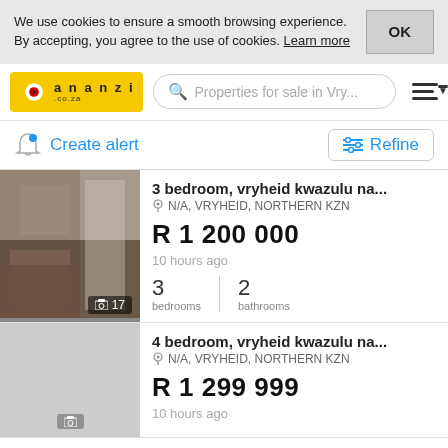We use cookies to ensure a smooth browsing experience. By accepting, you agree to the use of cookies. Learn more
[Figure (logo): Ananzi.co.za logo with yellow background and red target icon]
Properties for sale in Vry...
Create alert
Refine
3 bedroom, vryheid kwazulu na...
N/A, VRYHEID, NORTHERN KZN
R 1 200 000
10 hours ago
3 bedrooms  2 bathrooms
4 bedroom, vryheid kwazulu na...
N/A, VRYHEID, NORTHERN KZN
R 1 299 999
10 hours ago